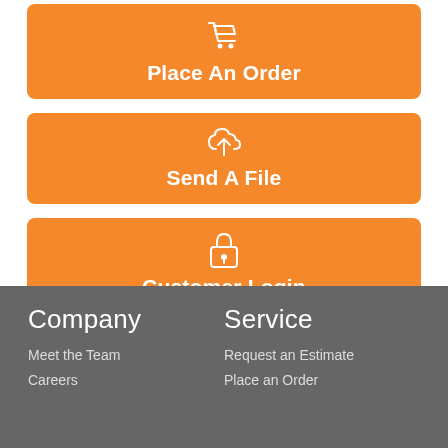[Figure (other): Orange button with shopping cart icon and text 'Place An Order']
[Figure (other): Orange button with cloud upload icon and text 'Send A File']
[Figure (other): Orange button with padlock icon and text 'Customer Login']
[Figure (other): Orange button with shopping cart icon and text 'Make a Payment']
Company
Meet the Team
Careers
Service
Request an Estimate
Place an Order